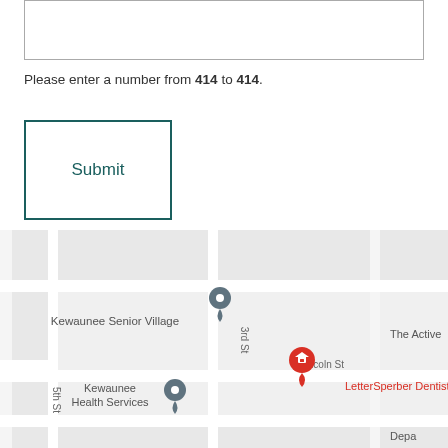Please enter a number from 414 to 414.
[Figure (screenshot): Submit button with teal border and teal text reading 'Submit']
[Figure (map): Google Maps screenshot showing Kewaunee Senior Village, Kewaunee Health Services, LetterSperber Dentistry, The Active (truncated), Lincoln St, 3rd St, 5th St streets in Kewaunee area]